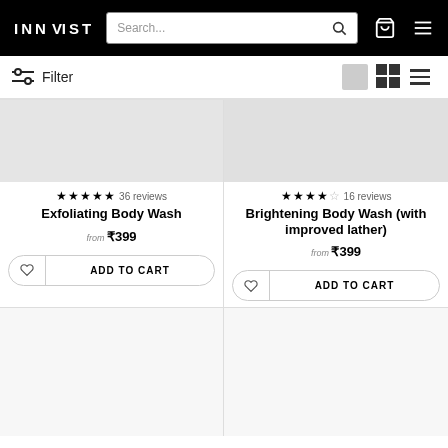INNOVIST — navigation header with search bar, cart, and menu icons
Filter
[Figure (screenshot): Product card for Exfoliating Body Wash — 5 stars (36 reviews), price from ₹399, Add to Cart button]
[Figure (screenshot): Product card for Brightening Body Wash (with improved lather) — 4.5 stars (16 reviews), price from ₹399, Add to Cart button]
[Figure (screenshot): Bottom product card (cropped) — left]
[Figure (screenshot): Bottom product card (cropped) — right]